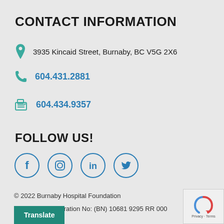CONTACT INFORMATION
3935 Kincaid Street, Burnaby, BC V5G 2X6
604.431.2881
604.434.9357
FOLLOW US!
[Figure (illustration): Four social media icons in circles: Facebook, Instagram, LinkedIn, Twitter]
© 2022 Burnaby Hospital Foundation
Charitable Registration No: (BN) 10681 9295 RR 000
Translate